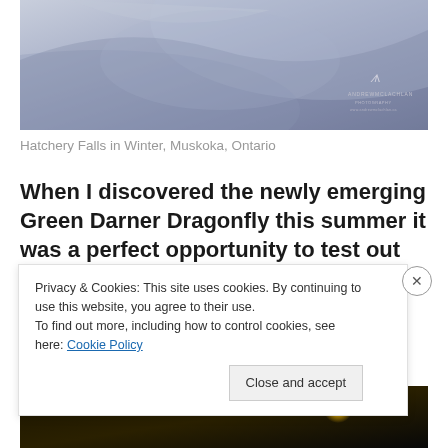[Figure (photo): Winter waterfall scene - Hatchery Falls in Winter, Muskoka, Ontario. Blue-grey toned landscape photo with Andrew McLachlan Photography watermark.]
Hatchery Falls in Winter, Muskoka, Ontario
When I discovered the newly emerging Green Darner Dragonfly this summer it was a perfect opportunity to test out my dual flash system for macro photography. More to come on that later 🙂
[Figure (photo): Dark macro photography image with yellow/golden bokeh light, Andrew McLachlan Photography watermark visible.]
Privacy & Cookies: This site uses cookies. By continuing to use this website, you agree to their use.
To find out more, including how to control cookies, see here: Cookie Policy
Close and accept